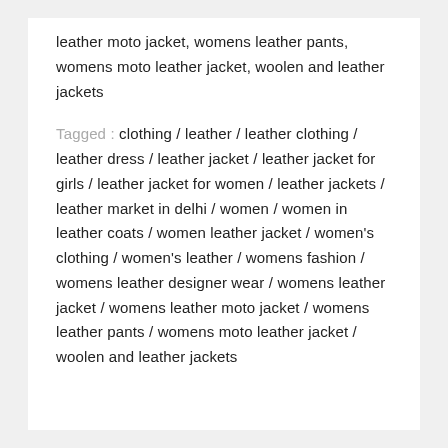leather moto jacket, womens leather pants, womens moto leather jacket, woolen and leather jackets
Tagged : clothing / leather / leather clothing / leather dress / leather jacket / leather jacket for girls / leather jacket for women / leather jackets / leather market in delhi / women / women in leather coats / women leather jacket / women's clothing / women's leather / womens fashion / womens leather designer wear / womens leather jacket / womens leather moto jacket / womens leather pants / womens moto leather jacket / woolen and leather jackets